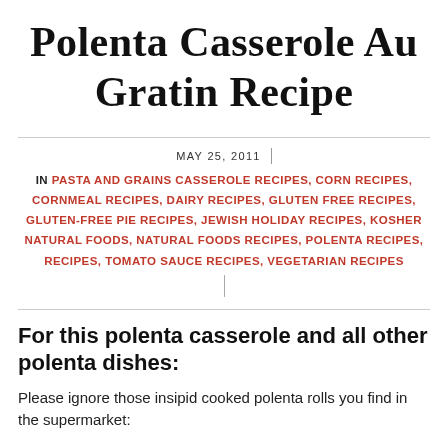Polenta Casserole Au Gratin Recipe
MAY 25, 2011
IN PASTA AND GRAINS CASSEROLE RECIPES, CORN RECIPES, CORNMEAL RECIPES, DAIRY RECIPES, GLUTEN FREE RECIPES, GLUTEN-FREE PIE RECIPES, JEWISH HOLIDAY RECIPES, KOSHER NATURAL FOODS, NATURAL FOODS RECIPES, POLENTA RECIPES, RECIPES, TOMATO SAUCE RECIPES, VEGETARIAN RECIPES
For this polenta casserole and all other polenta dishes:
Please ignore those insipid cooked polenta rolls you find in the supermarket: